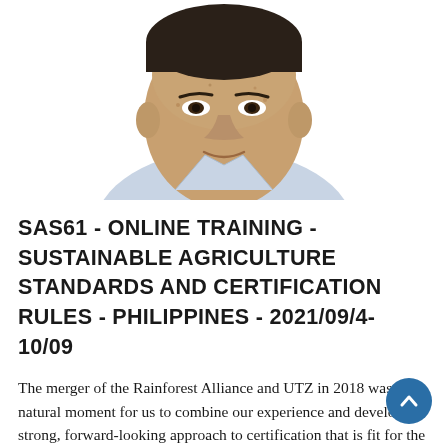[Figure (photo): Headshot photo of a middle-aged Asian man with light stubble, wearing a light blue collared shirt, white background.]
SAS61 - ONLINE TRAINING - SUSTAINABLE AGRICULTURE STANDARDS AND CERTIFICATION RULES - PHILIPPINES - 2021/09/4-10/09
The merger of the Rainforest Alliance and UTZ in 2018 was a natural moment for us to combine our experience and develop a strong, forward-looking approach to certification that is fit for the